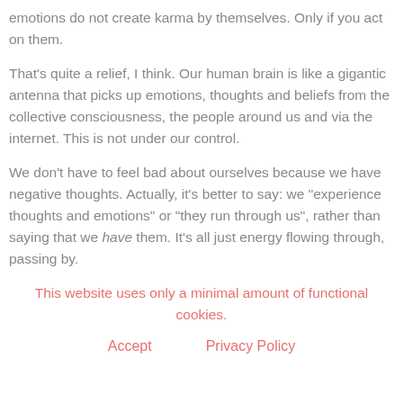emotions do not create karma by themselves. Only if you act on them.
That's quite a relief, I think. Our human brain is like a gigantic antenna that picks up emotions, thoughts and beliefs from the collective consciousness, the people around us and via the internet. This is not under our control.
We don't have to feel bad about ourselves because we have negative thoughts. Actually, it's better to say: we “experience thoughts and emotions” or “they run through us”, rather than saying that we have them. It's all just energy flowing through, passing by.
This website uses only a minimal amount of functional cookies.
Accept     Privacy Policy